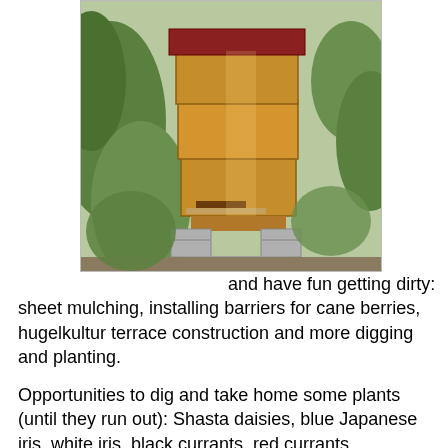[Figure (photo): A wooden beehive box with a red lid, sitting on concrete blocks in a garden surrounded by green plants and foliage.]
and have fun getting dirty: sheet mulching, installing barriers for cane berries, hugelkultur terrace construction and more digging and planting.

Opportunities to dig and take home some plants (until they run out): Shasta daisies, blue Japanese iris, white iris, black currants, red currants, blackberries (shuksan), raspberries, rhubarb. Bring a shovel and carry home container to dig your own.

Bring the kids! Dress for weather (raingear, or sunscreen and hat